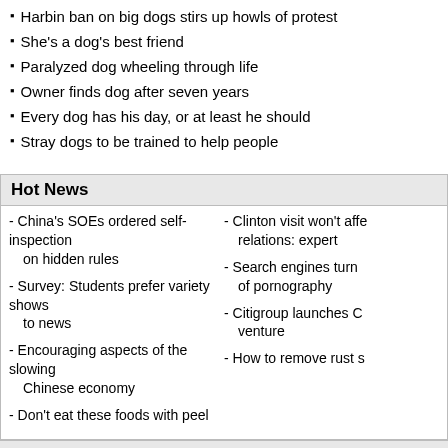Harbin ban on big dogs stirs up howls of protest
She's a dog's best friend
Paralyzed dog wheeling through life
Owner finds dog after seven years
Every dog has his day, or at least he should
Stray dogs to be trained to help people
Hot News
China's SOEs ordered self-inspection on hidden rules
Survey: Students prefer variety shows to news
Encouraging aspects of the slowing Chinese economy
Don't eat these foods with peel
Clinton visit won't affe... relations: expert
Search engines turn... of pornography
Citigroup launches C... venture
How to remove rust s...
Leave your comment